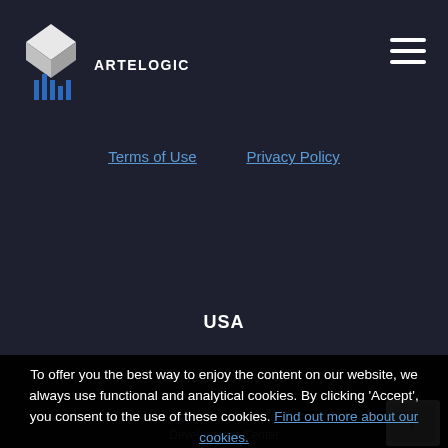[Figure (logo): Artelogic logo: geometric white diamond/arrow shape with blue vertical bars below, followed by text ARTELOGIC in white]
[Figure (other): Hamburger menu icon (three horizontal white lines) in top right corner]
Terms of Use    Privacy Policy
USA
Representative office
To offer you the best way to enjoy the content on our website, we always use functional and analytical cookies. By clicking ‘Accept’, you consent to the use of these cookies. Find out more about our cookies.
+1 740 116 5870
ACCEPT
CANCEL
Development Center